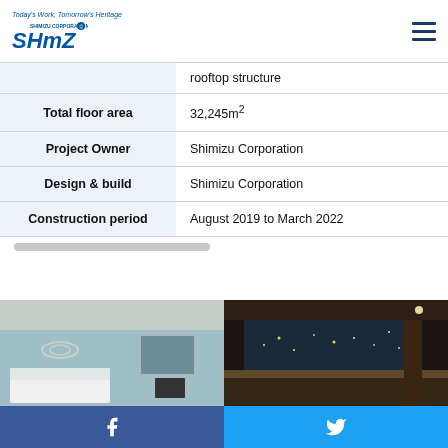Today's Work, Tomorrow's Heritage — SHIMIZU CORPORATION / SHMZ logo, hamburger menu
| Field | Value |
| --- | --- |
|  | rooftop structure |
| Total floor area | 32,245m² |
| Project Owner | Shimizu Corporation |
| Design & build | Shimizu Corporation |
| Construction period | August 2019 to March 2022 |
[Figure (photo): Hotel guest room interior with white beds, grey walls, and city view window]
[Figure (photo): Dark atmospheric spa or bath area with large window overlooking city nightscape]
Facebook share button | Twitter share button